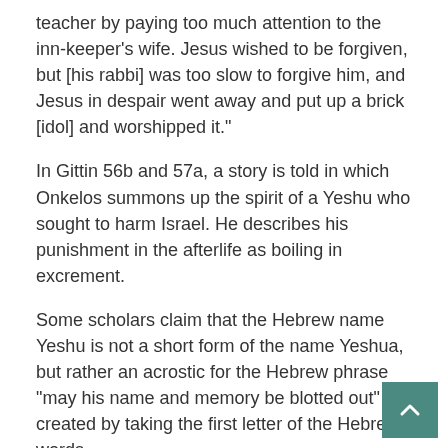teacher by paying too much attention to the inn-keeper’s wife. Jesus wished to be forgiven, but [his rabbi] was too slow to forgive him, and Jesus in despair went away and put up a brick [idol] and worshipped it.”
In Gittin 56b and 57a, a story is told in which Onkelos summons up the spirit of a Yeshu who sought to harm Israel. He describes his punishment in the afterlife as boiling in excrement.
Some scholars claim that the Hebrew name Yeshu is not a short form of the name Yeshua, but rather an acrostic for the Hebrew phrase “may his name and memory be blotted out” created by taking the first letter of the Hebrew words.
In addition, at the 1240 Disputation of Paris, Donin presented the allegation that the Talmud was